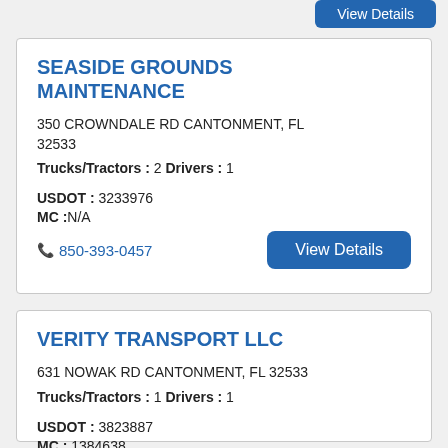SEASIDE GROUNDS MAINTENANCE
350 CROWNDALE RD CANTONMENT, FL 32533
Trucks/Tractors : 2 Drivers : 1
USDOT : 3233976
MC :N/A
📞 850-393-0457
VERITY TRANSPORT LLC
631 NOWAK RD CANTONMENT, FL 32533
Trucks/Tractors : 1 Drivers : 1
USDOT : 3823887
MC : 1384638
📞 425-918-0388